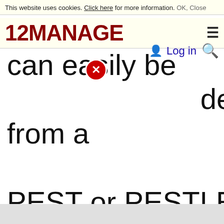This website uses cookies. Click here for more information. OK, Close
[Figure (logo): 12MANAGE logo in dark red bold text with hamburger menu icon on the right]
can easily be derived from a PEST or PESTLE analysis - one feeds the other.
Log in